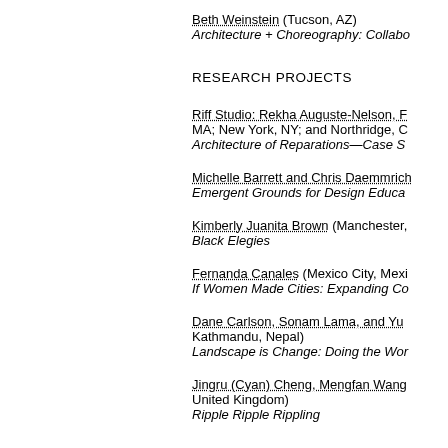Beth Weinstein (Tucson, AZ)
Architecture + Choreography: Collabo...
RESEARCH PROJECTS
Riff Studio: Rekha Auguste-Nelson, F... MA; New York, NY; and Northridge, C...
Architecture of Reparations—Case S...
Michelle Barrett and Chris Daemmrich...
Emergent Grounds for Design Educa...
Kimberly Juanita Brown (Manchester,...
Black Elegies
Fernanda Canales (Mexico City, Mexi...
If Women Made Cities: Expanding Co...
Dane Carlson, Sonam Lama, and Yu... Kathmandu, Nepal)
Landscape is Change: Doing the Wor...
Jingru (Cyan) Cheng, Mengfan Wang... United Kingdom)
Ripple Ripple Rippling